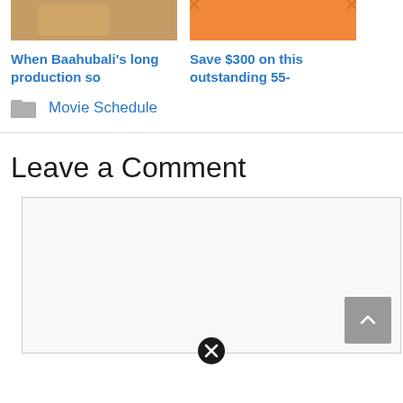[Figure (photo): Thumbnail image with warm brown/tan tones, partial view of a person or wrapped object]
[Figure (photo): Orange/amber colored rectangular image placeholder]
When Baahubali's long production so
Save $300 on this outstanding 55-
Movie Schedule
Leave a Comment
[Figure (screenshot): Comment text area input box, light gray background, with a scroll-to-top button (gray square with up arrow) at bottom right, and a close/cancel circle icon at bottom center]